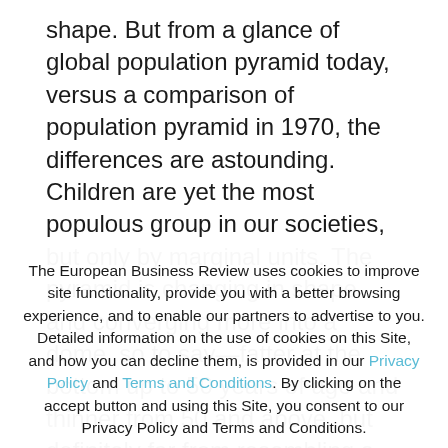shape. But from a glance of global population pyramid today, versus a comparison of population pyramid in 1970, the differences are astounding. Children are yet the most populous group in our societies, but only by marginal units. The pyramid is changing in shape and converging more into a dome, so to say—fatter at the bottom up to 50 years of age and thinner from 50 and above, but definitely far from resembling a pyramid at best. Projections show that the majority of populations of
The European Business Review uses cookies to improve site functionality, provide you with a better browsing experience, and to enable our partners to advertise to you. Detailed information on the use of cookies on this Site, and how you can decline them, is provided in our Privacy Policy and Terms and Conditions. By clicking on the accept button and using this Site, you consent to our Privacy Policy and Terms and Conditions.
ACCEPT